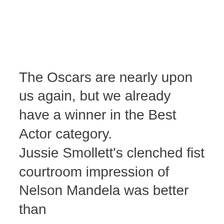The Oscars are nearly upon us again, but we already have a winner in the Best Actor category.
Jussie Smollett's clenched fist courtroom impression of Nelson Mandela was better than